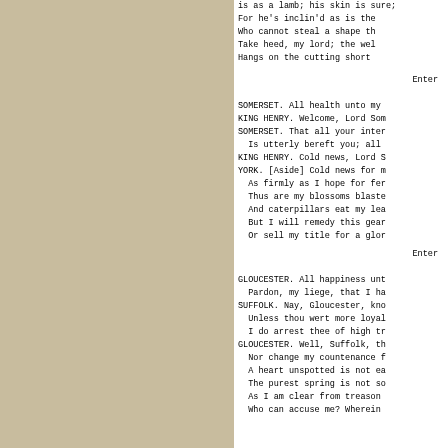is as a lamb; his skin is sure;
For he's inclin'd as is the
Who cannot steal a shape th
Take heed, my lord; the wel
Hangs on the cutting short
Enter
SOMERSET. All health unto my
KING HENRY. Welcome, Lord Som
SOMERSET. That all your inter
  Is utterly bereft you; all
KING HENRY. Cold news, Lord S
YORK. [Aside] Cold news for m
  As firmly as I hope for fer
  Thus are my blossoms blaste
  And caterpillars eat my lea
  But I will remedy this gear
  Or sell my title for a glor
Enter
GLOUCESTER. All happiness unt
  Pardon, my liege, that I ha
SUFFOLK. Nay, Gloucester, kno
  Unless thou wert more loyal
  I do arrest thee of high tr
GLOUCESTER. Well, Suffolk, th
  Nor change my countenance f
  A heart unspotted is not ea
  The purest spring is not so
  As I am clear from treason
  Who can accuse me? Wherein